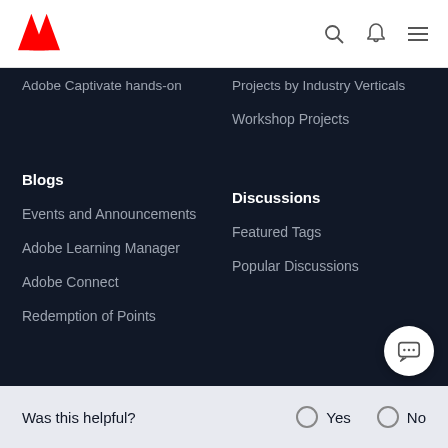[Figure (logo): Adobe logo - red stylized A on white background]
Adobe Captivate hands-on
Projects by Industry Verticals
Workshop Projects
Blogs
Discussions
Events and Announcements
Featured Tags
Adobe Learning Manager
Popular Discussions
Adobe Connect
Redemption of Points
Was this helpful?  ○ Yes  ○ No